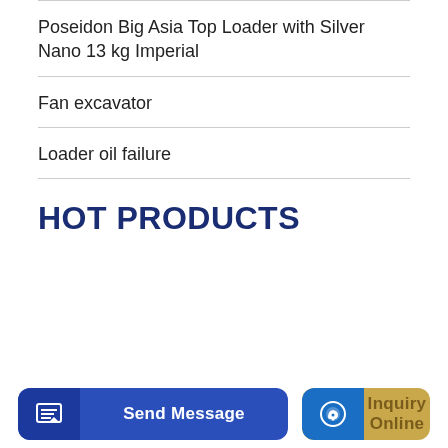Poseidon Big Asia Top Loader with Silver Nano 13 kg Imperial
Fan excavator
Loader oil failure
HOT PRODUCTS
Send Message
Inquiry Online